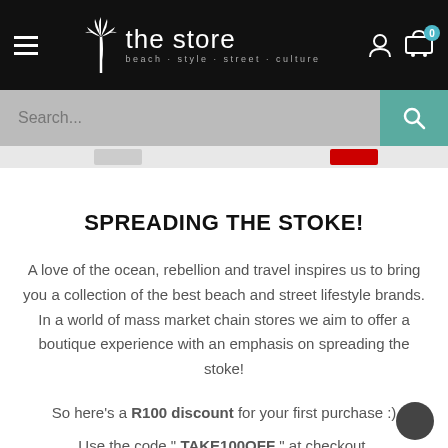[Figure (screenshot): Website header with black background, hamburger menu, 'the store' logo with palm tree icon and tagline 'beach · style · street · culture', user account and cart icons]
[Figure (screenshot): Grey search bar with teal search button]
SPREADING THE STOKE!
A love of the ocean, rebellion and travel inspires us to bring you a collection of the best beach and street lifestyle brands. In a world of mass market chain stores we aim to offer a boutique experience with an emphasis on spreading the stoke!
So here's a R100 discount for your first purchase :)
Use the code " TAKE100OFF " at checkout.